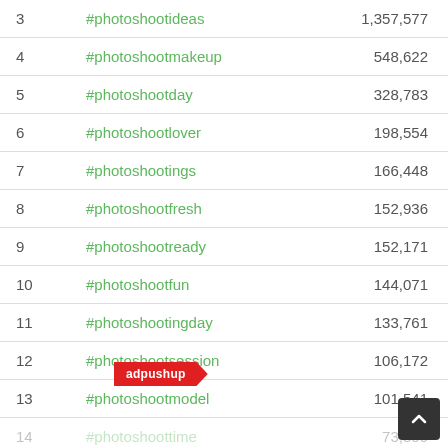| # | Hashtag | Count |
| --- | --- | --- |
| 3 | #photoshootideas | 1,357,577 |
| 4 | #photoshootmakeup | 548,622 |
| 5 | #photoshootday | 328,783 |
| 6 | #photoshootlover | 198,554 |
| 7 | #photoshootings | 166,448 |
| 8 | #photoshootfresh | 152,936 |
| 9 | #photoshootready | 152,171 |
| 10 | #photoshootfun | 144,071 |
| 11 | #photoshootingday | 133,761 |
| 12 | #photoshootsession | 106,172 |
| 13 | #photoshootmodel | 101,541 |
| 14 | #photoshoottime | 73,809 |
| 15 | #photoshootmika | 50,137 |